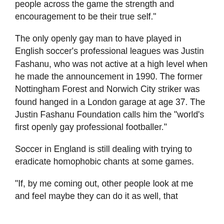people across the game the strength and encouragement to be their true self."
The only openly gay man to have played in English soccer's professional leagues was Justin Fashanu, who was not active at a high level when he made the announcement in 1990. The former Nottingham Forest and Norwich City striker was found hanged in a London garage at age 37. The Justin Fashanu Foundation calls him the "world's first openly gay professional footballer."
Soccer in England is still dealing with trying to eradicate homophobic chants at some games.
"If, by me coming out, other people look at me and feel maybe they can do it as well, that